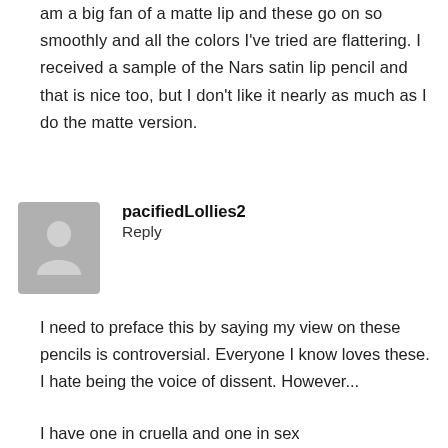am a big fan of a matte lip and these go on so smoothly and all the colors I've tried are flattering. I received a sample of the Nars satin lip pencil and that is nice too, but I don't like it nearly as much as I do the matte version.
[Figure (illustration): Gray placeholder avatar icon showing a silhouette of a person]
pacifiedLollies2
Reply
I need to preface this by saying my view on these pencils is controversial. Everyone I know loves these. I hate being the voice of dissent. However...
I have one in cruella and one in sex